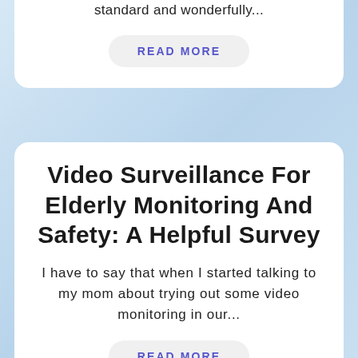standard and wonderfully...
READ MORE
Video Surveillance For Elderly Monitoring And Safety: A Helpful Survey
I have to say that when I started talking to my mom about trying out some video monitoring in our...
READ MORE